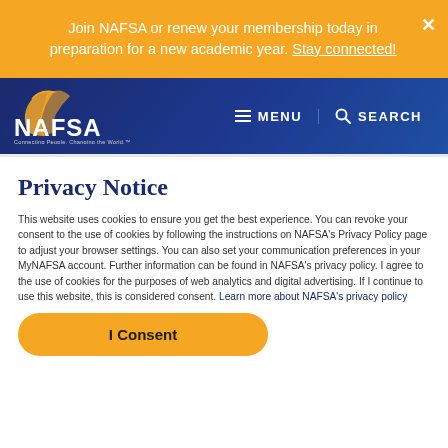Join NAFSA or renew your membership today in preparation for a new academic year. Stay connected!
[Figure (logo): NAFSA logo — Connecting People. Changing the World.™ — white text and gold graphic on dark blue navigation bar]
≡ MENU   🔍 SEARCH
Privacy Notice
This website uses cookies to ensure you get the best experience. You can revoke your consent to the use of cookies by following the instructions on NAFSA's Privacy Policy page to adjust your browser settings. You can also set your communication preferences in your MyNAFSA account. Further information can be found in NAFSA's privacy policy. I agree to the use of cookies for the purposes of web analytics and digital advertising. If I continue to use this website, this is considered consent. Learn more about NAFSA's privacy policy
I Consent